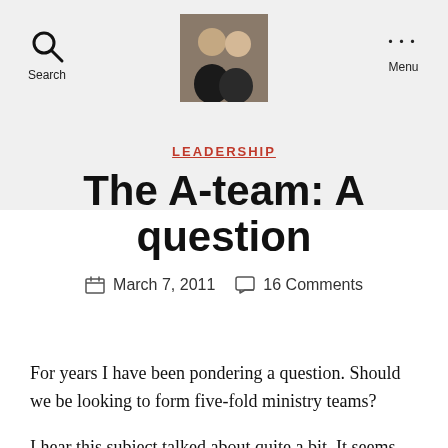Search | [profile photo] | Menu
LEADERSHIP
The A-team: A question
March 7, 2011   16 Comments
For years I have been pondering a question. Should we be looking to form five-fold ministry teams?
I hear this subject talked about quite a bit. It seems fairly